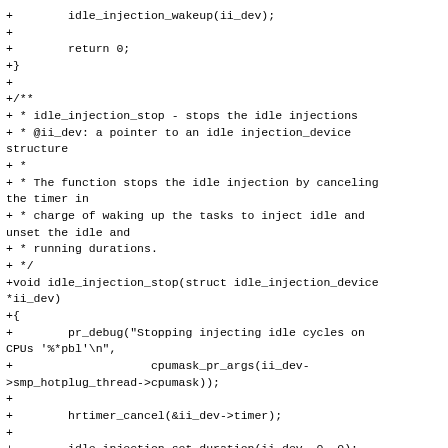+		idle_injection_wakeup(ii_dev);
+
+		return 0;
+}
+
+/**
+ * idle_injection_stop - stops the idle injections
+ * @ii_dev: a pointer to an idle injection_device structure
+ *
+ * The function stops the idle injection by canceling the timer in
+ * charge of waking up the tasks to inject idle and unset the idle and
+ * running durations.
+ */
+void idle_injection_stop(struct idle_injection_device *ii_dev)
+{
+		pr_debug("Stopping injecting idle cycles on CPUs '%*pbl'\n",
+					cpumask_pr_args(ii_dev->smp_hotplug_thread->cpumask));
+
+		hrtimer_cancel(&ii_dev->timer);
+
+		idle_injection_set_duration(ii_dev, 0, 0);
+}
+
+/**